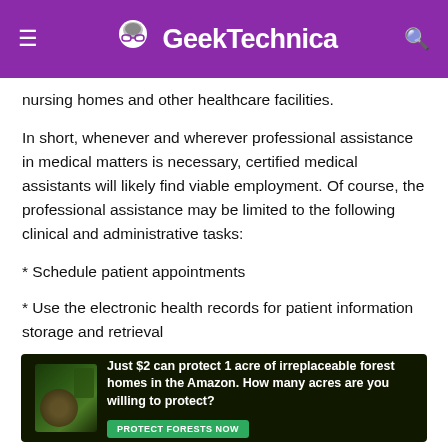GeekTechnica
nursing homes and other healthcare facilities.
In short, whenever and wherever professional assistance in medical matters is necessary, certified medical assistants will likely find viable employment. Of course, the professional assistance may be limited to the following clinical and administrative tasks:
* Schedule patient appointments
* Use the electronic health records for patient information storage and retrieval
[Figure (infographic): Advertisement banner: 'Just $2 can protect 1 acre of irreplaceable forest homes in the Amazon. How many acres are you willing to protect?' with a green PROTECT FORESTS NOW button and a forest/animal background image.]